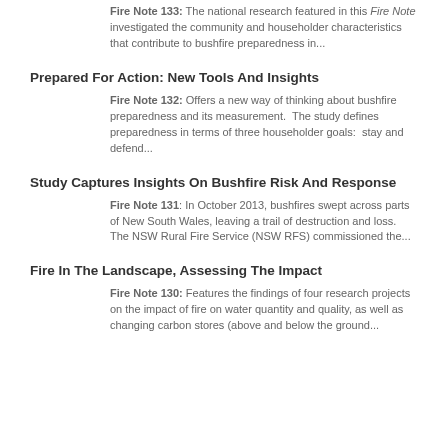Fire Note 133: The national research featured in this Fire Note investigated the community and householder characteristics that contribute to bushfire preparedness in...
Prepared For Action: New Tools And Insights
Fire Note 132: Offers a new way of thinking about bushfire preparedness and its measurement. The study defines preparedness in terms of three householder goals: stay and defend...
Study Captures Insights On Bushfire Risk And Response
Fire Note 131: In October 2013, bushfires swept across parts of New South Wales, leaving a trail of destruction and loss. The NSW Rural Fire Service (NSW RFS) commissioned the...
Fire In The Landscape, Assessing The Impact
Fire Note 130: Features the findings of four research projects on the impact of fire on water quantity and quality, as well as changing carbon stores (above and below the ground...